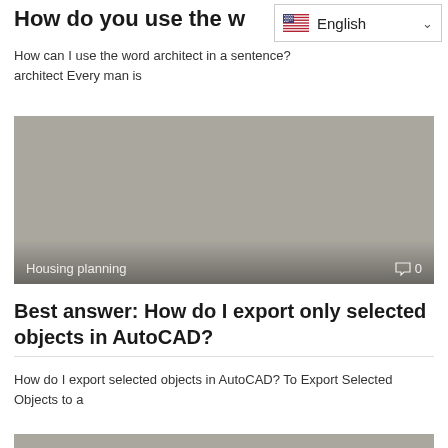How do you use the w
[Figure (screenshot): Language selector dropdown showing English with US flag]
How can I use the word architect in a sentence? architect Every man is
[Figure (photo): Gray image placeholder with Housing planning label and comment count 0]
Best answer: How do I export only selected objects in AutoCAD?
How do I export selected objects in AutoCAD? To Export Selected Objects to a
[Figure (photo): Gray image placeholder at bottom of page]